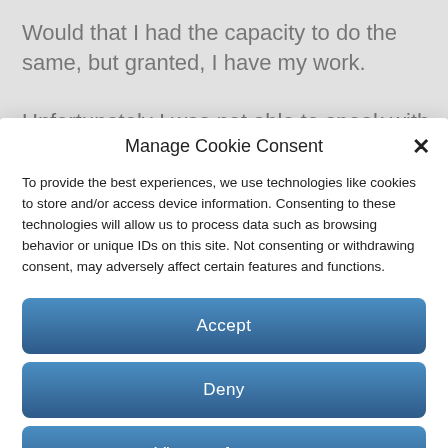Would that I had the capacity to do the same, but granted, I have my work.
Unfortunately I was not able to speak with her for
Manage Cookie Consent
To provide the best experiences, we use technologies like cookies to store and/or access device information. Consenting to these technologies will allow us to process data such as browsing behavior or unique IDs on this site. Not consenting or withdrawing consent, may adversely affect certain features and functions.
Accept
Deny
View preferences
Cookie Policy   Privacy Statement   Impressum